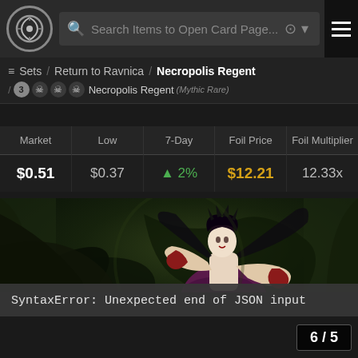Search Items to Open Card Page...
Sets / Return to Ravnica / Necropolis Regent / 3 [skull][skull][skull] Necropolis Regent (Mythic Rare)
| Market | Low | 7-Day | Foil Price | Foil Multiplier |
| --- | --- | --- | --- | --- |
| $0.51 | $0.37 | ▲ 2% | $12.21 | 12.33x |
[Figure (illustration): Fantasy card art depicting Necropolis Regent — a pale vampire queen in a dark purple gown with large black wings, surrounded by dark dragon-like tentacles against a dark green background]
SyntaxError: Unexpected end of JSON input
6 / 5